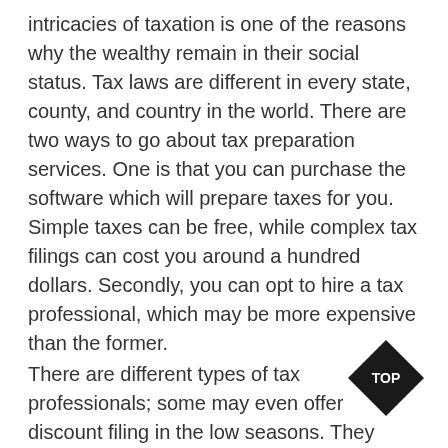intricacies of taxation is one of the reasons why the wealthy remain in their social status. Tax laws are different in every state, county, and country in the world. There are two ways to go about tax preparation services. One is that you can purchase the software which will prepare taxes for you. Simple taxes can be free, while complex tax filings can cost you around a hundred dollars. Secondly, you can opt to hire a tax professional, which may be more expensive than the former.
There are different types of tax professionals; some may even offer discount filing in the low seasons. They include;
Enrolled agents
Tax attorneys
Tax accountants
Different tax companies offer different rates
[Figure (other): Black diamond-shaped badge with white text reading 'TOP']